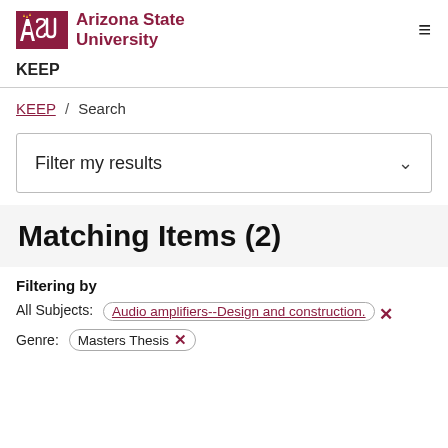[Figure (logo): Arizona State University ASU logo with sunburst mark and text 'Arizona State University']
KEEP
KEEP / Search
Filter my results
Matching Items (2)
Filtering by
All Subjects: Audio amplifiers--Design and construction. ✕
Genre: Masters Thesis ✕